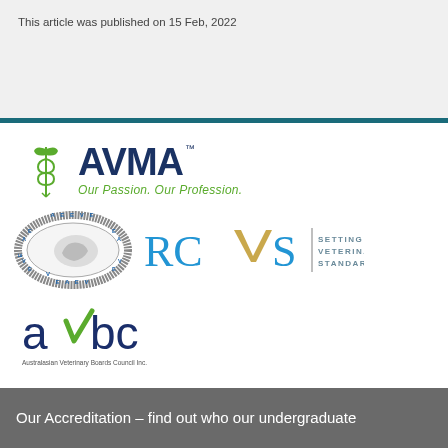This article was published on 15 Feb, 2022
[Figure (logo): AVMA logo — green caduceus icon with dark blue AVMA text and green tagline 'Our Passion. Our Profession.' with TM mark]
[Figure (logo): EAEVE logo — oval badge with globe and text around border: A E E V E / E A E V / V]
[Figure (logo): RCVS logo — blue letters RCVS with gold/tan V shape, beside text 'SETTING VETERINARY STANDARDS']
[Figure (logo): AVBC logo — dark blue lowercase 'avbc' with green checkmark in the 'v', and subtitle 'Australasian Veterinary Boards Council Inc.']
Our Accreditation - find out who our undergraduate